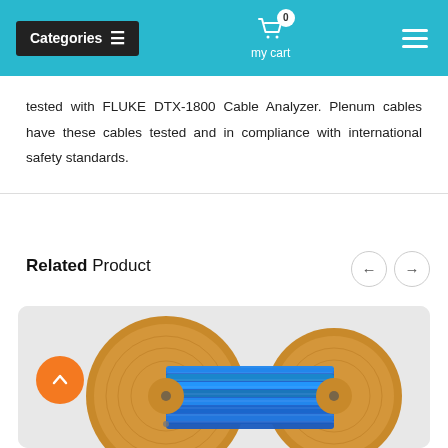Categories  my cart  0
tested with FLUKE DTX-1800 Cable Analyzer. Plenum cables have these cables tested and in compliance with international safety standards.
Related Product
[Figure (photo): A spool/reel of blue network cable (Cat6 or similar) wound on a wooden drum, shown on a light gray background. An orange back-to-top arrow button is visible in the lower left.]